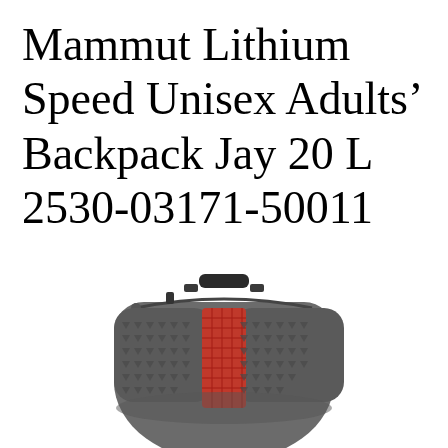Mammut Lithium Speed Unisex Adults' Backpack Jay 20 L 2530-03171-50011
[Figure (photo): Top-down view of a Mammut Lithium Speed backpack in gray with red mesh accent panel, showing the top handle, zipper pulls, and patterned fabric, viewed from the back/top angle.]